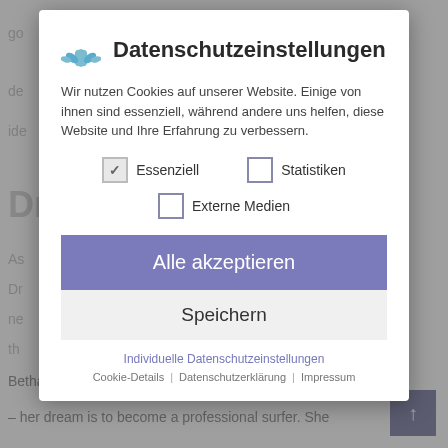go
de
ide
Dreams Aren't Enough
As
Dr
ne
th
[Figure (screenshot): Cookie consent modal dialog with title 'Datenschutzeinstellungen' (Privacy Settings), a lotus flower logo, German text about cookies, checkbox options for Essenziell (checked), Statistiken (unchecked), Externe Medien (unchecked), an 'Alle akzeptieren' (Accept all) button, a 'Speichern' (Save) button, and links for Individuelle Datenschutzeinstellungen, Cookie-Details, Datenschutzerklarung, Impressum]
Bethany Hamilton lives in Hawaii – her passion is su
– her dream is to become a professional surfer. She